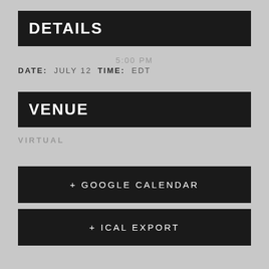DETAILS
5:00 PM
DATE:  JULY 12  TIME:  EDT
VENUE
VIRTUAL
+ GOOGLE CALENDAR
+ ICAL EXPORT